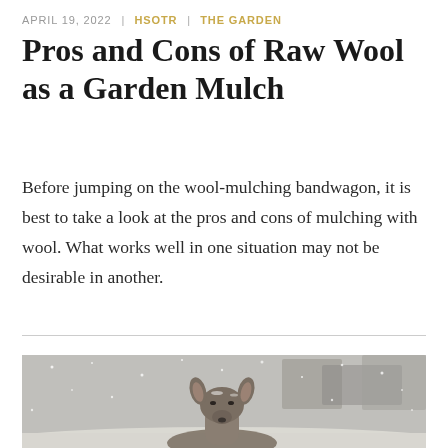APRIL 19, 2022 | HSOTR | THE GARDEN
Pros and Cons of Raw Wool as a Garden Mulch
Before jumping on the wool-mulching bandwagon, it is best to take a look at the pros and cons of mulching with wool. What works well in one situation may not be desirable in another.
[Figure (photo): A deer's head and ears visible above the snow in a snowy winter outdoor scene, with a building blurred in the background.]